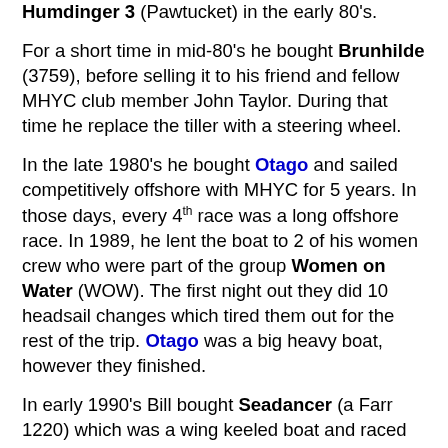Humdinger 3 (Pawtucket) in the early 80's.
For a short time in mid-80's he bought Brunhilde (3759), before selling it to his friend and fellow MHYC club member John Taylor. During that time he replace the tiller with a steering wheel.
In the late 1980's he bought Otago and sailed competitively offshore with MHYC for 5 years. In those days, every 4th race was a long offshore race. In 1989, he lent the boat to 2 of his women crew who were part of the group Women on Water (WOW). The first night out they did 10 headsail changes which tired them out for the rest of the trip. Otago was a big heavy boat, however they finished.
In early 1990's Bill bought Seadancer (a Farr 1220) which was a wing keeled boat and raced offshore for another 4-5 years. Bill knew Bruce Farr well from his New Zealand days and says he was proud to beat him a few times.